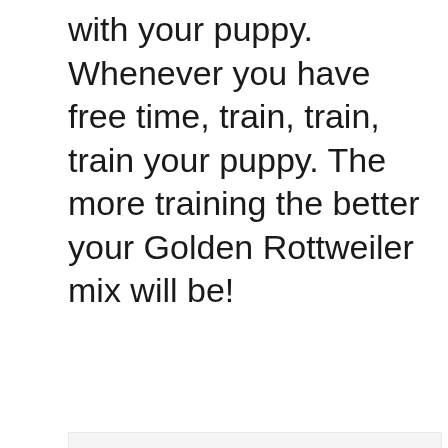with your puppy. Whenever you have free time, train, train, train your puppy. The more training the better your Golden Rottweiler mix will be!
[Figure (screenshot): Advertisement banner with teal background showing a dog and text 'GIVE ME THOSE PUPPY DOG EYES' with a heart icon and close button X]
[Figure (screenshot): Bottom advertisement banner with dark green background showing a husky dog and text 'LET'S BE FRIENDS' with a heart icon and close button X, alongside a gray scrollbar/button area]